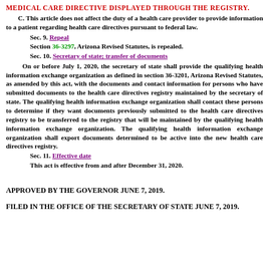MEDICAL CARE DIRECTIVE DISPLAYED THROUGH THE REGISTRY.
C.  This article does not affect the duty of a health care provider to provide information to a patient regarding health care directives pursuant to federal law.
Sec. 9.  Repeal
Section 36-3297, Arizona Revised Statutes, is repealed.
Sec. 10.  Secretary of state; transfer of documents
On or before July 1, 2020, the secretary of state shall provide the qualifying health information exchange organization as defined in section 36-3201, Arizona Revised Statutes, as amended by this act, with the documents and contact information for persons who have submitted documents to the health care directives registry maintained by the secretary of state.  The qualifying health information exchange organization shall contact these persons to determine if they want documents previously submitted to the health care directives registry to be transferred to the registry that will be maintained by the qualifying health information exchange organization.  The qualifying health information exchange organization shall export documents determined to be active into the new health care directives registry.
Sec. 11.  Effective date
This act is effective from and after December 31, 2020.
APPROVED BY THE GOVERNOR JUNE 7, 2019.
FILED IN THE OFFICE OF THE SECRETARY OF STATE JUNE 7, 2019.